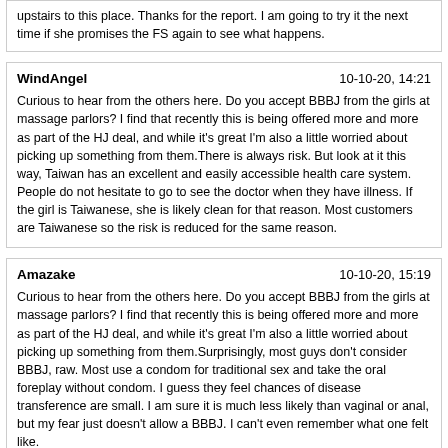upstairs to this place. Thanks for the report. I am going to try it the next time if she promises the FS again to see what happens.
WindAngel
10-10-20, 14:21
Curious to hear from the others here. Do you accept BBBJ from the girls at massage parlors? I find that recently this is being offered more and more as part of the HJ deal, and while it’s great I’m also a little worried about picking up something from them.There is always risk. But look at it this way, Taiwan has an excellent and easily accessible health care system. People do not hesitate to go to see the doctor when they have illness. If the girl is Taiwanese, she is likely clean for that reason. Most customers are Taiwanese so the risk is reduced for the same reason.
Amazake
10-10-20, 15:19
Curious to hear from the others here. Do you accept BBBJ from the girls at massage parlors? I find that recently this is being offered more and more as part of the HJ deal, and while it’s great I’m also a little worried about picking up something from them.Surprisingly, most guys don’t consider BBBJ, raw. Most use a condom for traditional sex and take the oral foreplay without condom. I guess they feel chances of disease transference are small. I am sure it is much less likely than vaginal or anal, but my fear just doesn’t allow a BBBJ. I can’t even remember what one felt like.

It is amazing what some of these girls will and will not do. Some have no problem doing everything raw. Some consider kissing a taboo. Some are so sanitary conscious that it destroys the intimacy of the whole act.

But, a good time could be still had with a condom used in every orifice which allows one to sleep well and not go through the expense, worry and degradation of running to a clinic and taking harmful meds.
AsiaFever
10-12-20, 01:57